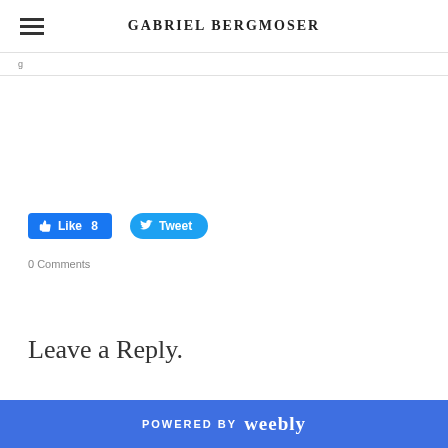GABRIEL BERGMOSER
0 Comments
Leave a Reply.
POWERED BY weebly